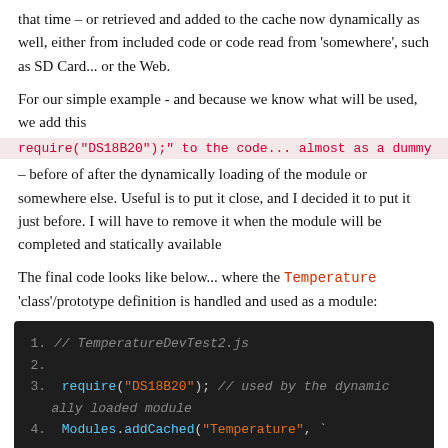that time – or retrieved and added to the cache now dynamically as well, either from included code or code read from 'somewhere', such as SD Card... or the Web.
For our simple example - and because we know what will be used, we add this
require("DS18B20");" to the code... almost as a dummy
– before of after the dynamically loading of the module or somewhere else. Useful is to put it close, and I decided it to put it just before. I will have to remove it when the module will be completed and statically available
The final code looks like below... where the Temperature 'class'/prototype definition is handled and used as a module:
[Figure (screenshot): Dark-themed code editor showing JavaScript code. Line 1: // TemperatureDevTest2.js, Line 2: (empty), Line 3: require("DS18B20"); // used by the dynamically loaded module, Line 4: Modules.addCached("Temperature", `]